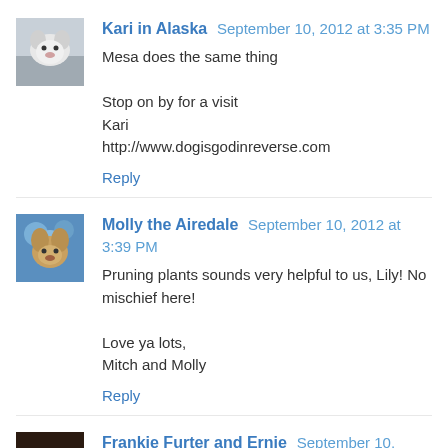Kari in Alaska  September 10, 2012 at 3:35 PM
Mesa does the same thing

Stop on by for a visit
Kari
http://www.dogisgodinreverse.com
Reply
Molly the Airedale  September 10, 2012 at 3:39 PM
Pruning plants sounds very helpful to us, Lily! No mischief here!

Love ya lots,
Mitch and Molly
Reply
Frankie Furter and Ernie  September 10, 2012 at 3:54 PM